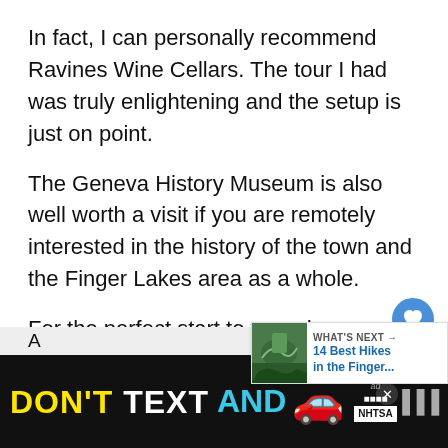In fact, I can personally recommend Ravines Wine Cellars. The tour I had was truly enlightening and the setup is just on point.
The Geneva History Museum is also well worth a visit if you are remotely interested in the history of the town and the Finger Lakes area as a whole.
For the perfect start to your day or an afternoon pick me up, I also LOVE Monaco's Coffee. Their breakfast burritos and sandwiches are the stuff that foodie dreams are made of and the cof… too.
[Figure (screenshot): UI overlay showing heart/like button (blue circle with heart icon), like count of 1, share button, and a 'What's Next' card showing '14 Best Hikes in the Finger...' with a nature photo thumbnail]
[Figure (screenshot): Ad banner at bottom: black background with 'DON'T TEXT AND' text (yellow and white), red car emoji, ad and NHTSA logos, close button X]